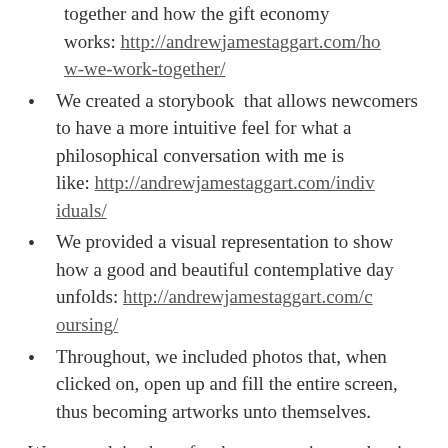together and how the gift economy works: http://andrewjamestaggart.com/how-we-work-together/
We created a storybook that allows newcomers to have a more intuitive feel for what a philosophical conversation with me is like: http://andrewjamestaggart.com/individuals/
We provided a visual representation to show how a good and beautiful contemplative day unfolds: http://andrewjamestaggart.com/coursing/
Throughout, we included photos that, when clicked on, open up and fill the entire screen, thus becoming artworks unto themselves.
We wanted, in short, for the one coming up the site to pause, slow down, and take notice. We hope you'll